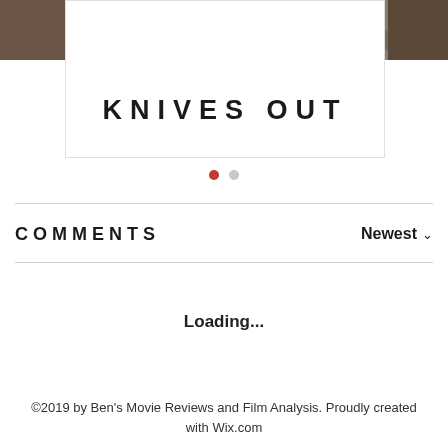[Figure (photo): Top strip showing a movie still from Knives Out with people in a room, partially cropped on left and right sides]
KNIVES OUT
• •  (carousel dots)
COMMENTS
Newest ∨
Loading...
©2019 by Ben's Movie Reviews and Film Analysis. Proudly created with Wix.com